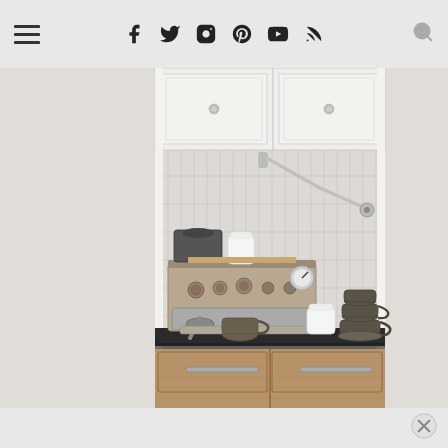Navigation bar with hamburger menu, social media icons (Facebook, Twitter, Instagram, Pinterest, YouTube, RSS), and search icon
[Figure (photo): Kitchen coffee station with a stainless steel espresso machine on a dark granite countertop, white subway tile backsplash in a stacked vertical pattern, wall-mounted pot filler faucet, white upper cabinets with round knobs, dark gray stacked cups and saucers, a white ceramic container, and lower wood-grain drawers with bar pulls.]